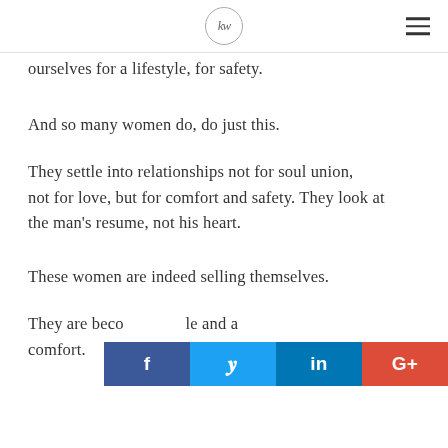KW logo and hamburger menu
ourselves for a lifestyle, for safety.
And so many women do, do just this.
They settle into relationships not for soul union, not for love, but for comfort and safety. They look at the man's resume, not his heart.
These women are indeed selling themselves.
They are becoming a lifestyle and a comfort.
[Figure (infographic): Social share buttons: Facebook (f), Twitter (bird icon), LinkedIn (in), Google+ (G+)]